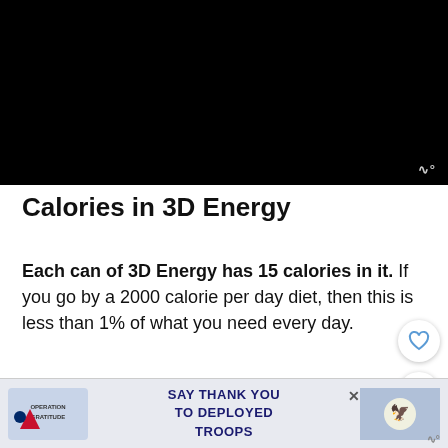[Figure (other): Black video thumbnail/player area with a small watermark icon in the bottom right corner]
Calories in 3D Energy
Each can of 3D Energy has 15 calories in it. If you go by a 2000 calorie per day diet, then this is less than 1% of what you need every day.
To clarify, calories are a measure of the amount of energy you get from the food and
[Figure (other): Advertisement banner: Operation Gratitude - SAY THANK YOU TO DEPLOYED TROOPS]
WHAT'S NEXT → Is 3D Energy Drink Bad F...